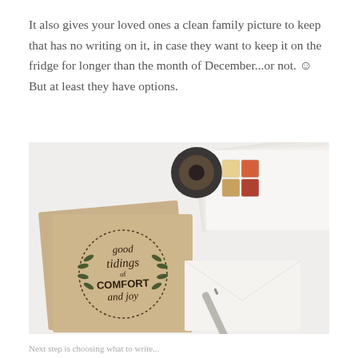It also gives your loved ones a clean family picture to keep that has no writing on it, in case they want to keep it on the fridge for longer than the month of December...or not. ☺ But at least they have options.
[Figure (photo): Flat lay photo on white surface showing kraft paper Christmas cards with hand-lettered 'good tidings of COMFORT and joy' text inside a wreath illustration, a cap of washi tape, colorful postage stamps, a stack of white envelopes, and a silver pen resting on an envelope.]
Next step is choosing what to write...